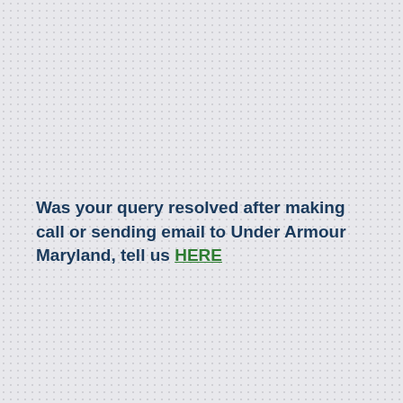Was your query resolved after making call or sending email to Under Armour Maryland, tell us HERE